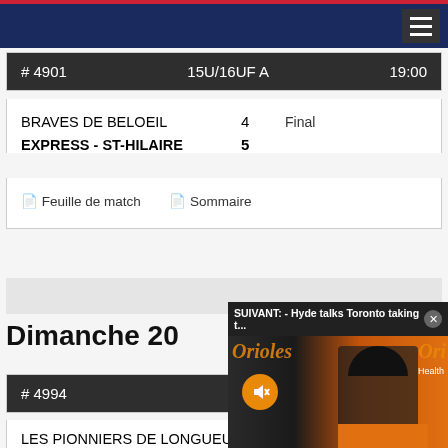Navigation header with hamburger menu
| # | Category | Time |
| --- | --- | --- |
| # 4901 | 15U/16UF A | 19:00 |
BRAVES DE BELOEIL  4
EXPRESS - ST-HILAIRE  5
Final
Feuille de match   Sommaire
Dimanche 20...
| # | Category |
| --- | --- |
| # 4994 |  |
LES PIONNIERS DE LONGUEUIL  2
VOLTIGEURS  8
Final
[Figure (screenshot): Video overlay showing SUIVANT: Hyde talks Toronto taking t... with an Orioles baseball press conference video, featuring a man in an orange Orioles uniform and cap, with MedStar Health branding visible]